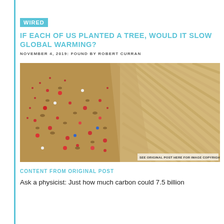WIRED
IF EACH OF US PLANTED A TREE, WOULD IT SLOW GLOBAL WARMING?
NOVEMBER 4, 2019: FOUND BY ROBERT CURRAN
[Figure (photo): Aerial view of people planting trees in sandy terrain, with rows of planted areas visible]
SEE ORIGINAL POST HERE FOR IMAGE COPYRIGHT
CONTENT FROM ORIGINAL POST
Ask a physicist: Just how much carbon could 7.5 billion